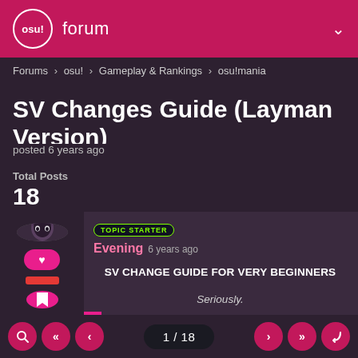osu! forum
Forums > osu! > Gameplay & Rankings > osu!mania
SV Changes Guide (Layman Version)
posted 6 years ago
Total Posts
18
TOPIC STARTER
Evening 6 years ago
SV CHANGE GUIDE FOR VERY BEGINNERS

Seriously.
Kudos to Agka for making the first SV Guide thread and huge thanks for the SV tool, but personally felt that it can be simplified further so here it is
1 / 18